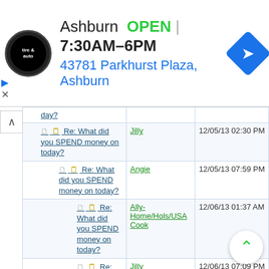[Figure (screenshot): Ad banner for Tire & Auto shop in Ashburn, showing logo, OPEN status, hours 7:30AM-6PM, address 43781 Parkhurst Plaza Ashburn, and navigation icon]
| Thread | Author | Date |
| --- | --- | --- |
| Re: What did you SPEND money on today? | Jilly | 12/05/13 02:30 PM |
| Re: What did you SPEND money on today? | Angie | 12/05/13 07:59 PM |
| Re: What did you SPEND money on today? | Ally-Home/Hols/USA Cook | 12/06/13 01:37 AM |
| Re: What did you SPEND money on today? | Jilly | 12/06/13 07:09 PM |
| Re: What did you SPEND money on today? | Jilly | 12/06/13 07:06 PM |